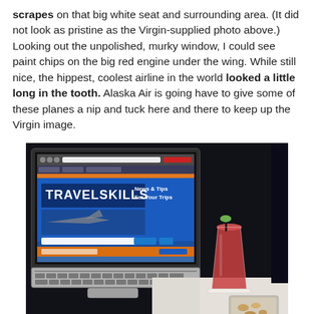scrapes on that big white seat and surrounding area. (It did not look as pristine as the Virgin-supplied photo above.) Looking out the unpolished, murky window, I could see paint chips on the big red engine under the wing. While still nice, the hippest, coolest airline in the world looked a little long in the tooth. Alaska Air is going have to give some of these planes a nip and tuck here and there to keep up the Virgin image.
[Figure (photo): A laptop computer displaying the TravelSkills website (showing 'TRAVELSKILLS News & Tips For Your Trips' branding) on a tray table, next to a reddish cocktail drink in a glass with a lime garnish and a small bowl of snacks, photographed in dim airplane cabin lighting.]